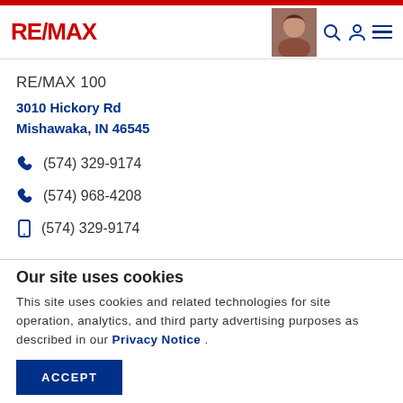RE/MAX
RE/MAX 100
3010 Hickory Rd
Mishawaka, IN 46545
(574) 329-9174
(574) 968-4208
(574) 329-9174
Our site uses cookies
This site uses cookies and related technologies for site operation, analytics, and third party advertising purposes as described in our Privacy Notice .
ACCEPT